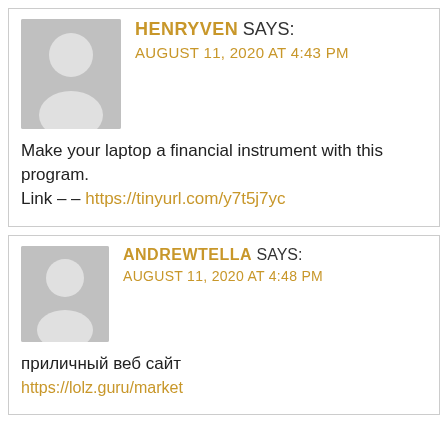[Figure (other): User comment block from HENRYVEN with avatar placeholder, username, date, comment text and link]
Make your laptop a financial instrument with this program.
Link – – https://tinyurl.com/y7t5j7yc
[Figure (other): User comment block from ANDREWTELLA with avatar placeholder, username, date, comment text and link]
приличный веб сайт
https://lolz.guru/market